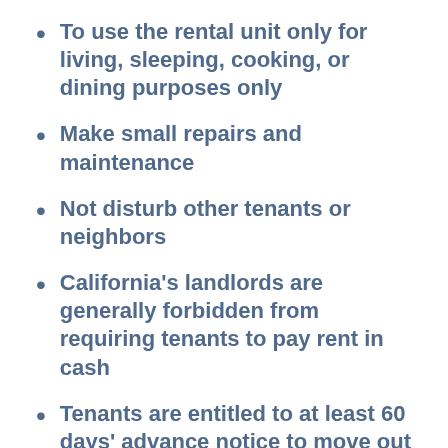To use the rental unit only for living, sleeping, cooking, or dining purposes only
Make small repairs and maintenance
Not disturb other tenants or neighbors
California's landlords are generally forbidden from requiring tenants to pay rent in cash
Tenants are entitled to at least 60 days' advance notice to move out if their unit has been foreclosed
Security deposits may not be more than two